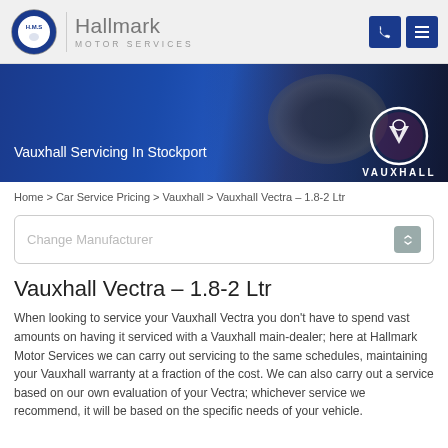Hallmark Motor Services
[Figure (photo): Hero banner image showing hands working on a car engine, overlaid with blue tint on left side showing text 'Vauxhall Servicing In Stockport' and Vauxhall griffin logo with VAUXHALL text on right]
Home > Car Service Pricing > Vauxhall > Vauxhall Vectra – 1.8-2 Ltr
Change Manufacturer
Vauxhall Vectra – 1.8-2 Ltr
When looking to service your Vauxhall Vectra you don't have to spend vast amounts on having it serviced with a Vauxhall main-dealer; here at Hallmark Motor Services we can carry out servicing to the same schedules, maintaining your Vauxhall warranty at a fraction of the cost. We can also carry out a service based on our own evaluation of your Vectra; whichever service we recommend, it will be based on the specific needs of your vehicle.